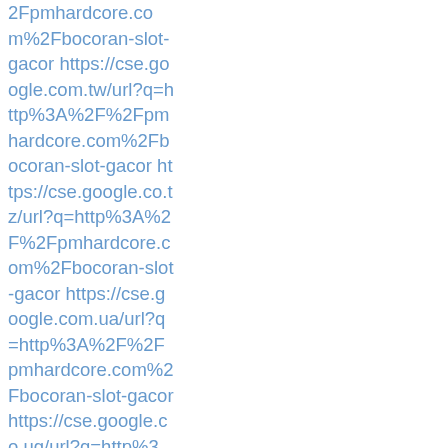2Fpmhardcore.com%2Fbocoran-slot-gacor https://cse.google.com.tw/url?q=http%3A%2F%2Fpmhardcore.com%2Fbocoran-slot-gacor https://cse.google.co.tz/url?q=http%3A%2F%2Fpmhardcore.com%2Fbocoran-slot-gacor https://cse.google.com.ua/url?q=http%3A%2F%2Fpmhardcore.com%2Fbocoran-slot-gacor https://cse.google.co.ug/url?q=http%3A%2F%2Fpmhardcore.com%2Fbocoran-slot-gacor https://cse.google.co.uk/url?q=http%3A%2F%2Fpmhardcore.com%2Fbocoran-slot-gacor https://cse.google.com/url?q=http%3A%2F%2Fpmhardcore.com%2Fbocoran-slot-gacor htt